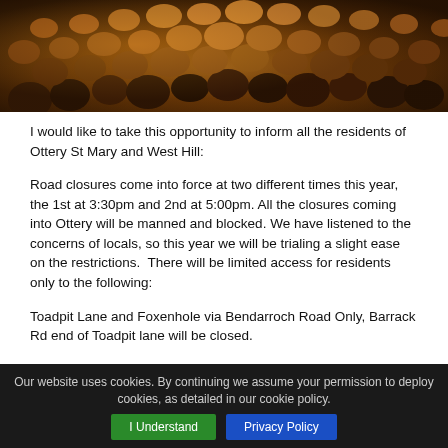[Figure (photo): Crowd of people gathered at night, lit with warm amber/orange tones, heads and shoulders visible from above.]
I would like to take this opportunity to inform all the residents of Ottery St Mary and West Hill:
Road closures come into force at two different times this year, the 1st at 3:30pm and 2nd at 5:00pm. All the closures coming into Ottery will be manned and blocked. We have listened to the concerns of locals, so this year we will be trialing a slight ease on the restrictions.  There will be limited access for residents only to the following:
Toadpit Lane and Foxenhole via Bendarroch Road Only, Barrack Rd end of Toadpit lane will be closed.
King's Reach from West Hill or the Fluxton via Salston Cross.
Thorne Farm Way from West Hill or the Fluxton via Salston Cross along by King's Reach and right onto Barrack Rd and then into Thorne Farm
Our website uses cookies. By continuing we assume your permission to deploy cookies, as detailed in our cookie policy.